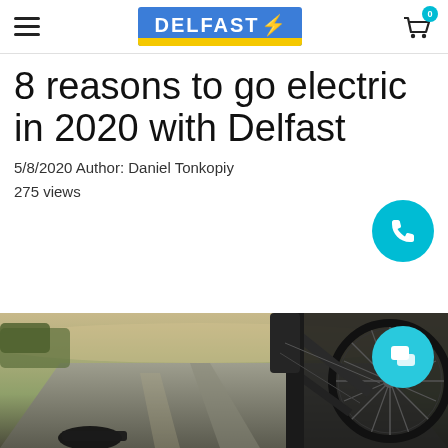DELFAST [logo] — hamburger menu and cart icon
8 reasons to go electric in 2020 with Delfast
5/8/2020 Author: Daniel Tonkopiy
275 views
[Figure (photo): Close-up photo of a Delfast electric bike on a road, showing wheel spokes, frame, and pedal in the foreground with a blurred open road in the background]